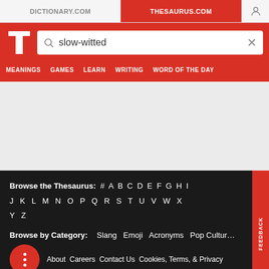DICTIONARY.COM | THESAURUS.COM
[Figure (screenshot): Thesaurus.com website header with logo, search bar containing 'slow-witted', and navigation menu with MEANINGS, GAMES, LEARN, WRITING, WORD OF THE DAY]
Browse the Thesaurus: # A B C D E F G H I J K L M N O P Q R S T U V W X Y Z
Browse by Category: Slang Emoji Acronyms Pop Culture
About Careers Contact Us Cookies, Terms, & Privacy